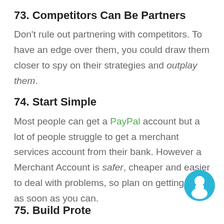73. Competitors Can Be Partners
Don't rule out partnering with competitors. To have an edge over them, you could draw them closer to spy on their strategies and outplay them.
74. Start Simple
Most people can get a PayPal account but a lot of people struggle to get a merchant services account from their bank. However a Merchant Account is safer, cheaper and easier to deal with problems, so plan on getting one as soon as you can.
75. Build Protection